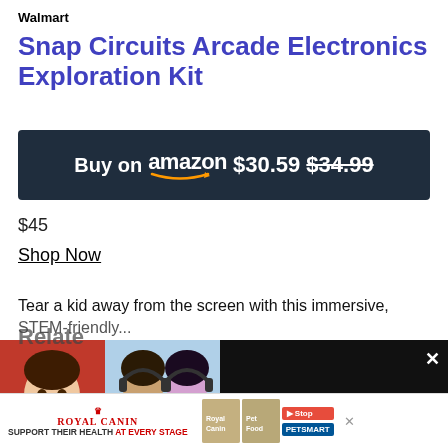Walmart
Snap Circuits Arcade Electronics Exploration Kit
[Figure (screenshot): Buy on Amazon button showing price $30.59 crossed out $34.99 on dark navy background]
$45
Shop Now
Tear a kid away from the screen with this immersive, STEM-friendly...
[Figure (screenshot): Video overlay showing Sofia Carson watching fan covers on YouTube, with close button]
[Figure (screenshot): Royal Canin advertisement banner: Support Their Health At Every Stage - PetSmart]